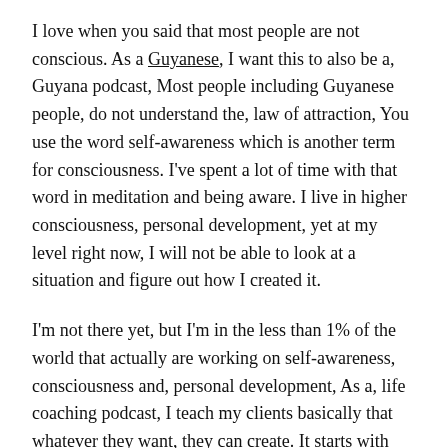I love when you said that most people are not conscious. As a Guyanese, I want this to also be a, Guyana podcast, Most people including Guyanese people, do not understand the, law of attraction, You use the word self-awareness which is another term for consciousness. I've spent a lot of time with that word in meditation and being aware. I live in higher consciousness, personal development, yet at my level right now, I will not be able to look at a situation and figure out how I created it.
I'm not there yet, but I'm in the less than 1% of the world that actually are working on self-awareness, consciousness and, personal development, As a, life coaching podcast, I teach my clients basically that whatever they want, they can create. It starts with their thoughts and starts with their belief system. You and I are both, personal development, coaches and one of the